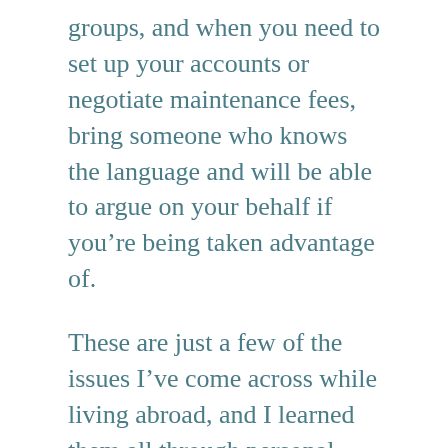groups, and when you need to set up your accounts or negotiate maintenance fees, bring someone who knows the language and will be able to argue on your behalf if you're being taken advantage of.
These are just a few of the issues I've come across while living abroad, and I learned them all through personal experience, rather than a friendly warning from a friend who's been there and done that. So here I am, giving you a friendly heads up about some of those little things that people don't tell you about living abroad. Some of those little things that you wouldn't think of until you're already there having to deal with them. Living abroad is an